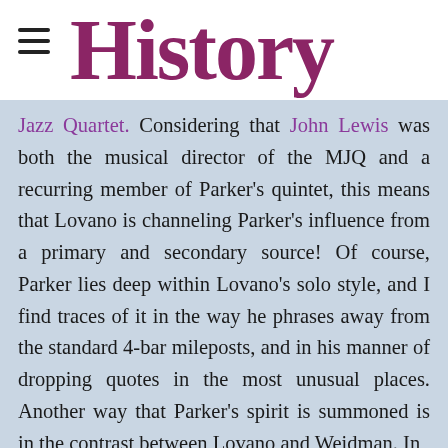History
Jazz Quartet. Considering that John Lewis was both the musical director of the MJQ and a recurring member of Parker's quintet, this means that Lovano is channeling Parker's influence from a primary and secondary source! Of course, Parker lies deep within Lovano's solo style, and I find traces of it in the way he phrases away from the standard 4-bar mileposts, and in his manner of dropping quotes in the most unusual places. Another way that Parker's spirit is summoned is in the contrast between Lovano and Weidman. In